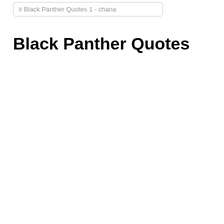# Black Panther Quotes 1 - chana
Black Panther Quotes